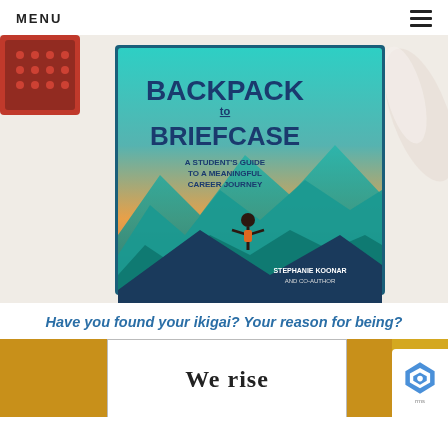MENU
[Figure (photo): Photo of the book 'Backpack to Briefcase: A Student's Guide to a Meaningful Career Journey' by Stephanie Koonar and co-author, lying on a light surface with a red decorative box and ribbon nearby. The book cover shows a teal-to-orange gradient with mountain silhouettes and a figure with arms raised.]
Have you found your ikigai? Your reason for being?
[Figure (illustration): Partially visible card/poster on a golden yellow background with text 'We rise' in bold serif font. A reCAPTCHA widget is partially visible in the lower right corner.]